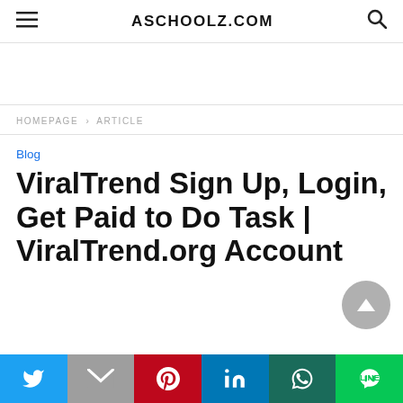ASCHOOLZ.COM
HOMEPAGE > ARTICLE
Blog
ViralTrend Sign Up, Login, Get Paid to Do Task | ViralTrend.org Account
[Figure (other): Social sharing bar with Twitter, Gmail, Pinterest, LinkedIn, WhatsApp, and LINE buttons]